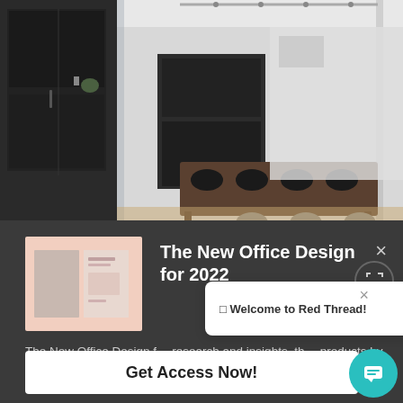[Figure (photo): Modern office interior with dark wood cabinetry, glass partition walls, conference table with chairs, and open workspace in background]
[Figure (screenshot): Dark modal popup overlay showing book thumbnail, title 'The New Office Design for 2022', descriptive text, and 'Get Access Now!' button. A second chat popup says 'Welcome to Red Thread!' with a teal chat bubble icon.]
The New Office Design for 2022
The New Office Design f… research and insights, th… products by Steelcase.
Welcome to Red Thread!
Get Access Now!